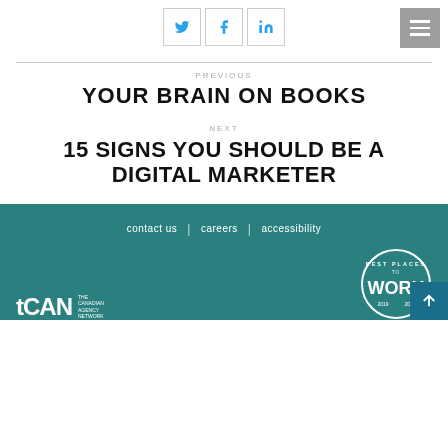[Figure (other): Social media share buttons for Twitter, Facebook, LinkedIn, and a hamburger menu button]
PREVIOUS
YOUR BRAIN ON BOOKS
NEXT
15 SIGNS YOU SHOULD BE A DIGITAL MARKETER
contact us | careers | accessibility
[Figure (logo): tCAN The Canadian Agency Network logo and Best Places to Work 2019 badge]
[Figure (other): Scroll to top button with arrow]